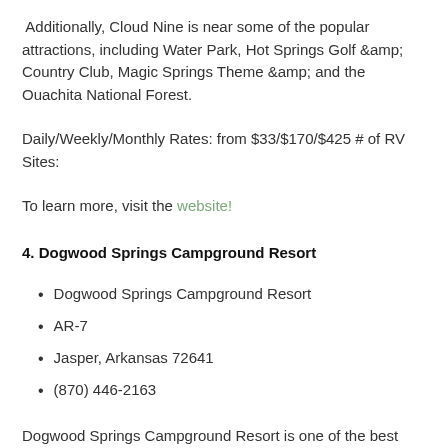Additionally, Cloud Nine is near some of the popular attractions, including Water Park, Hot Springs Golf &amp; Country Club, Magic Springs Theme &amp; and the Ouachita National Forest.
Daily/Weekly/Monthly Rates: from $33/$170/$425 # of RV Sites:
To learn more, visit the website!
4. Dogwood Springs Campground Resort
Dogwood Springs Campground Resort
AR-7
Jasper, Arkansas 72641
(870) 446-2163
Dogwood Springs Campground Resort is one of the best RVs in